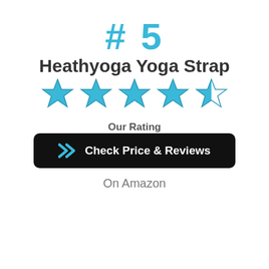# 5
Heathyoga Yoga Strap
[Figure (infographic): 4.5 out of 5 stars rating shown as 4 full teal stars and 1 half teal/white star]
Our Rating
[Figure (infographic): Black rounded button with blue double-arrow icon and white text: Check Price & Reviews]
On Amazon